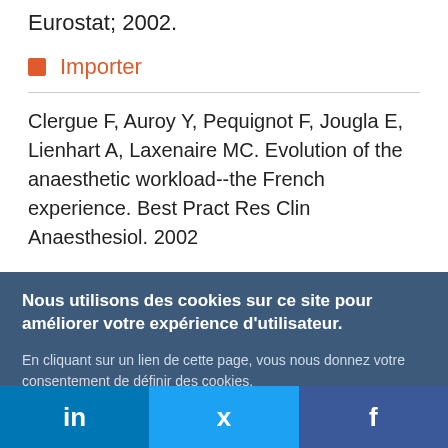Eurostat; 2002.
Importer
Clergue F, Auroy Y, Pequignot F, Jougla E, Lienhart A, Laxenaire MC. Evolution of the anaesthetic workload--the French experience. Best Pract Res Clin Anaesthesiol. 2002
Nous utilisons des cookies sur ce site pour améliorer votre expérience d'utilisateur.
En cliquant sur un lien de cette page, vous nous donnez votre consentement de définir des cookies.
Oui, je suis d'accord
Plus d'infos
in  /  f